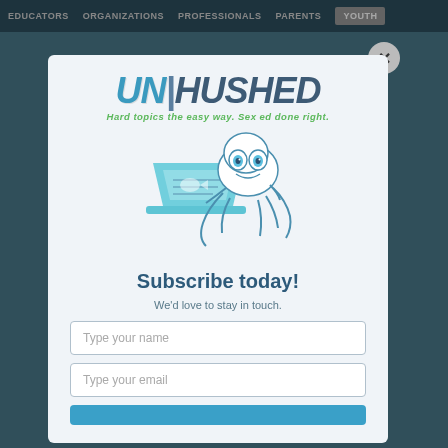EDUCATORS  ORGANIZATIONS  PROFESSIONALS  PARENTS  YOUTH
[Figure (screenshot): Un|Hushed website screenshot background with navigation bar]
[Figure (logo): UN|HUSHED logo with tagline: Hard topics the easy way. Sex ed done right.]
[Figure (illustration): Cartoon octopus mascot typing on a laptop computer]
Subscribe today!
We'd love to stay in touch.
Type your name
Type your email